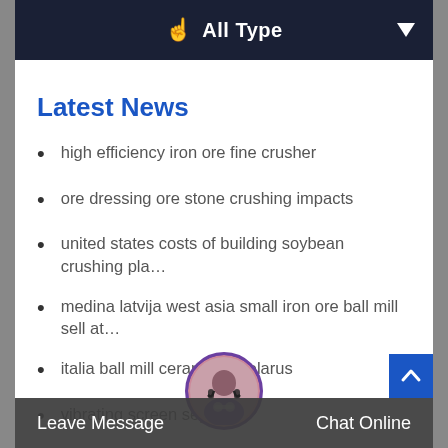All Type
Latest News
high efficiency iron ore fine crusher
ore dressing ore stone crushing impacts
united states costs of building soybean crushing pla…
medina latvija west asia small iron ore ball mill sell at…
italia ball mill ceramic in belarus
vibrating screen seper…
gyratory crusher 2000hp…rensi
Leave Message   Chat Online